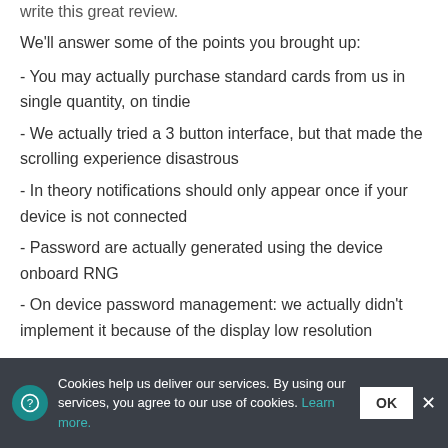write this great review.
We'll answer some of the points you brought up:
- You may actually purchase standard cards from us in single quantity, on tindie
- We actually tried a 3 button interface, but that made the scrolling experience disastrous
- In theory notifications should only appear once if your device is not connected
- Password are actually generated using the device onboard RNG
- On device password management: we actually didn't implement it because of the display low resolution
Cookies help us deliver our services. By using our services, you agree to our use of cookies. Learn more.